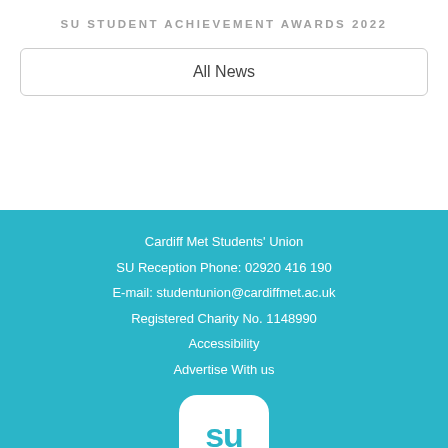SU STUDENT ACHIEVEMENT AWARDS 2022
All News
Cardiff Met Students' Union
SU Reception Phone: 02920 416 190
E-mail: studentunion@cardiffmet.ac.uk
Registered Charity No. 1148990
Accessibility
Advertise With us
[Figure (logo): Cardiff Met Students' Union SU logo — white rounded square with teal 'su' text and speech bubble tail]